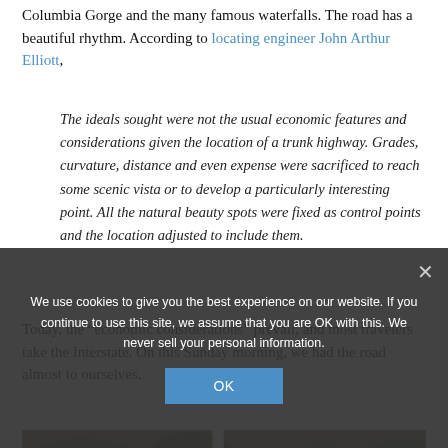Columbia Gorge and the many famous waterfalls. The road has a beautiful rhythm. According to locating engineer John Arthur Elliott,
The ideals sought were not the usual economic features and considerations given the location of a trunk highway. Grades, curvature, distance and even expense were sacrificed to reach some scenic vista or to develop a particularly interesting point. All the natural beauty spots were fixed as control points and the location adjusted to include them.
Today, the “economic considerations” prevail, and most travelers take the Interstate. On this Sunday morning, we had the road almost to ourselves.
[Figure (photo): Panoramic photo of a waterfall in the Columbia Gorge, with rocky cliff faces covered in green vegetation and a narrow white waterfall in the center.]
We use cookies to give you the best experience on our website. If you continue to use this site, we assume that you are OK with this. We never sell your personal information.